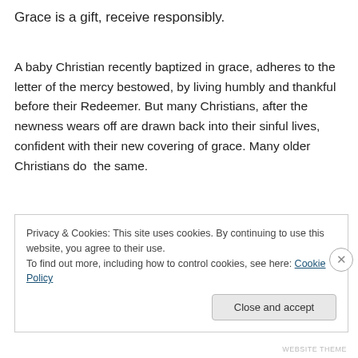Grace is a gift, receive responsibly.
A baby Christian recently baptized in grace, adheres to the letter of the mercy bestowed, by living humbly and thankful before their Redeemer. But many Christians, after the newness wears off are drawn back into their sinful lives, confident with their new covering of grace. Many older Christians do  the same.
Privacy & Cookies: This site uses cookies. By continuing to use this website, you agree to their use.
To find out more, including how to control cookies, see here: Cookie Policy
Close and accept